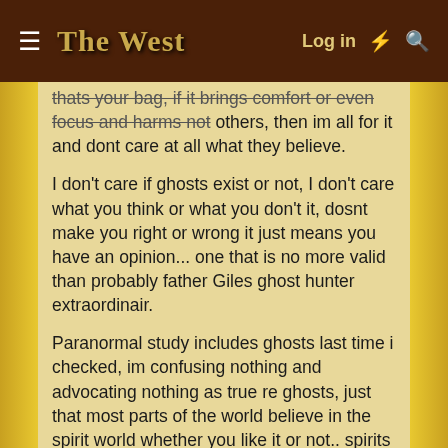THE WEST — Log in
thats your bag, if it brings comfort or even focus and harms not others, then im all for it and dont care at all what they believe.
I don't care if ghosts exist or not, I don't care what you think or what you don't it, dosnt make you right or wrong it just means you have an opinion... one that is no more valid than probably father Giles ghost hunter extraordinair.
Paranormal study includes ghosts last time i checked, im confusing nothing and advocating nothing as true re ghosts, just that most parts of the world believe in the spirit world whether you like it or not.. spirits - ghosts whatever you choose to call them.
I was also being flippant re the % in the US as an example but trust you to take it literally 🙄 its no secret that the US has far more use for psychiatrists and sure its embraced, it makes MONEY on the insecure and preys on the weak minded and intolerant of normal behaviour with the backing of Government.. the young has always been erratic.. its called growing pains and being young, big deal, I see no reason to castrate peoples